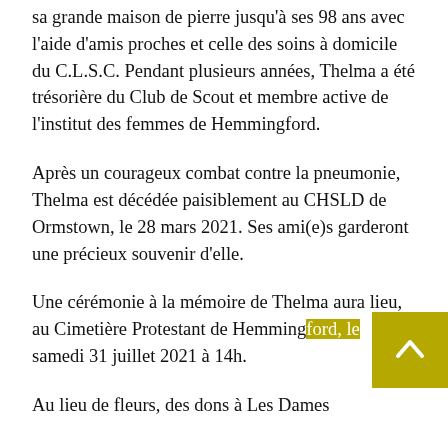sa grande maison de pierre jusqu'à ses 98 ans avec l'aide d'amis proches et celle des soins à domicile du C.L.S.C. Pendant plusieurs années, Thelma a été trésorière du Club de Scout et membre active de l'institut des femmes de Hemmingford.
Après un courageux combat contre la pneumonie, Thelma est décédée paisiblement au CHSLD de Ormstown, le 28 mars 2021. Ses ami(e)s garderont une précieux souvenir d'elle.
Une cérémonie à la mémoire de Thelma aura lieu, au Cimetière Protestant de Hemmingford, le samedi 31 juillet 2021  à 14h.
Au lieu de fleurs, des dons à Les Dames